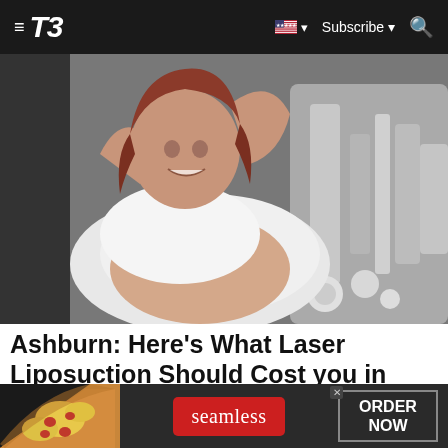T3 — Subscribe | Search
[Figure (photo): Person with red/auburn hair smiling, reclining with arms raised, next to medical or aesthetic machine equipment, blurred background]
Ashburn: Here's What Laser Liposuction Should Cost you in 2022 (Newest Price)
[Figure (infographic): Seamless food delivery advertisement banner with pizza image on left, red Seamless logo in center, and ORDER NOW button on right]